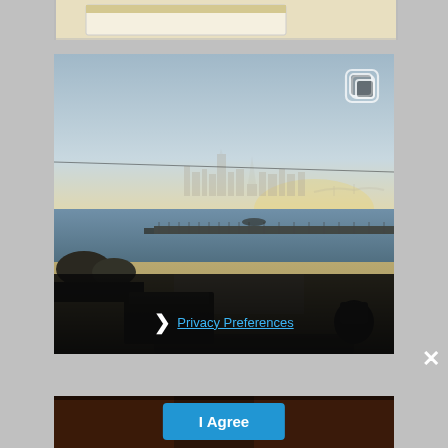[Figure (photo): Partial top photo showing a light-colored interior scene, cropped at top of page]
[Figure (photo): Outdoor waterfront photo showing a bay with a city skyline (San Francisco) in the hazy background, dry grassy foreground with concrete blocks, a pathway, dark shrubbery, and water with a pier/breakwater. Blue-grey sky. A duplicate/copy icon is visible in the top right corner. A dark overlay at the bottom contains a Privacy Preferences link.]
❯ Privacy Preferences
[Figure (photo): Partial bottom photo showing a dark reddish-brown interior scene, cropped at bottom of page]
I Agree